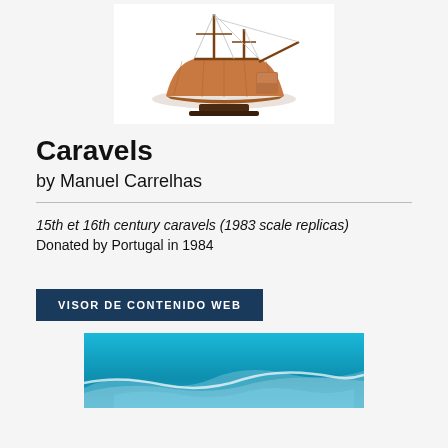[Figure (photo): Wooden scale model of a caravel ship on a display stand, photographed against a white background.]
Caravels
by Manuel Carrelhas
15th et 16th century caravels (1983 scale replicas)
Donated by Portugal in 1984
VISOR DE CONTENIDO WEB
[Figure (photo): Aerial or satellite photograph of a coastline with turquoise/cyan ocean water and sandy landmass.]